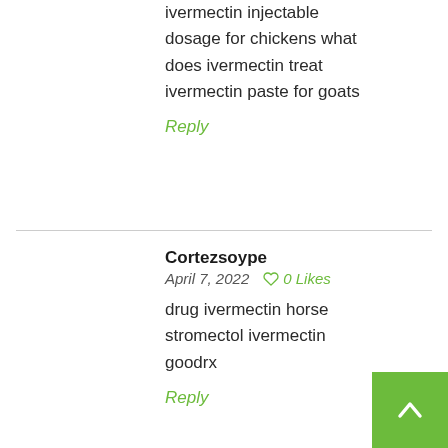ivermectin injectable dosage for chickens what does ivermectin treat ivermectin paste for goats
Reply
Cortezsoype
April 7, 2022   0 Likes
drug ivermectin horse stromectol ivermectin goodrx
Reply
EdwardGof
April 8, 2022   0 Likes
cialis viagra levitra canada cialis vs. viagra recreational use cialis strips